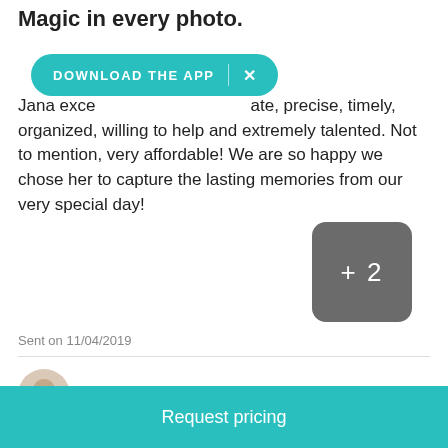Magic in every photo.
[Figure (other): Download the App banner overlay with teal background and X close button]
Jana exceeded expectations. She is passionate, precise, timely, organized, willing to help and extremely talented. Not to mention, very affordable! We are so happy we chose her to capture the lasting memories from our very special day!
[Figure (other): Dark gray rounded square button showing '+ 2' indicating 2 more photos]
Sent on 11/04/2019
Jedidiah W.
[Figure (other): Request pricing teal button at bottom of page]